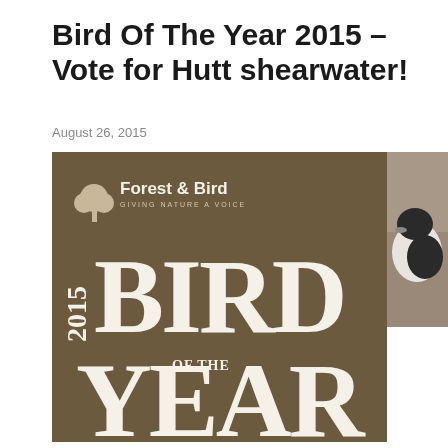Bird Of The Year 2015 – Vote for Hutt shearwater!
August 26, 2015
[Figure (logo): Forest & Bird 'Bird of the Year 2015' promotional image on brown background with large serif text and Forest & Bird logo with tree icon]
[Figure (photo): Partial photo of a black and white bird, cropped at right edge of page]